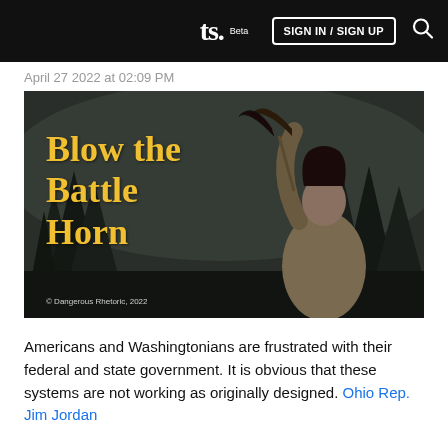ts. Beta  SIGN IN / SIGN UP
April 27 2022 at 02:09 PM
[Figure (photo): Article hero image with text overlay reading 'Blow the Battle Horn' in yellow on dark background with a warrior blowing a horn, copyright Dangerous Rhetoric 2022]
Americans and Washingtonians are frustrated with their federal and state government. It is obvious that these systems are not working as originally designed. Ohio Rep. Jim Jordan